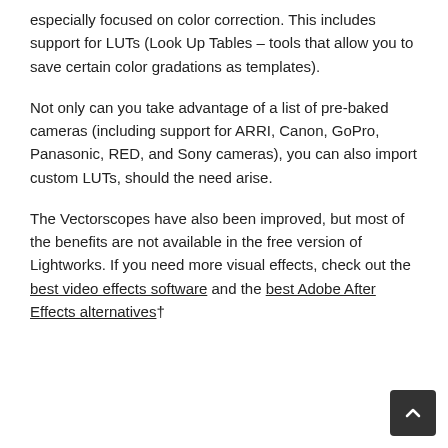especially focused on color correction. This includes support for LUTs (Look Up Tables – tools that allow you to save certain color gradations as templates).
Not only can you take advantage of a list of pre-baked cameras (including support for ARRI, Canon, GoPro, Panasonic, RED, and Sony cameras), you can also import custom LUTs, should the need arise.
The Vectorscopes have also been improved, but most of the benefits are not available in the free version of Lightworks. If you need more visual effects, check out the best video effects software and the best Adobe After Effects alternatives†